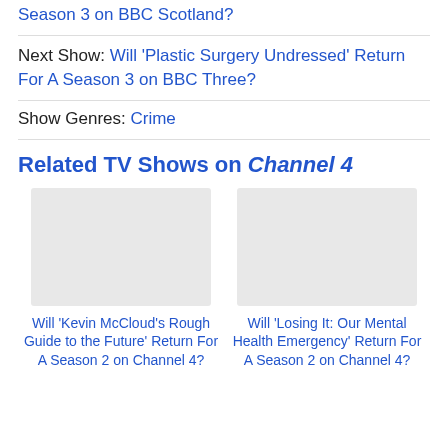Season 3 on BBC Scotland?
Next Show: Will 'Plastic Surgery Undressed' Return For A Season 3 on BBC Three?
Show Genres: Crime
Related TV Shows on Channel 4
Will 'Kevin McCloud's Rough Guide to the Future' Return For A Season 2 on Channel 4?
Will 'Losing It: Our Mental Health Emergency' Return For A Season 2 on Channel 4?